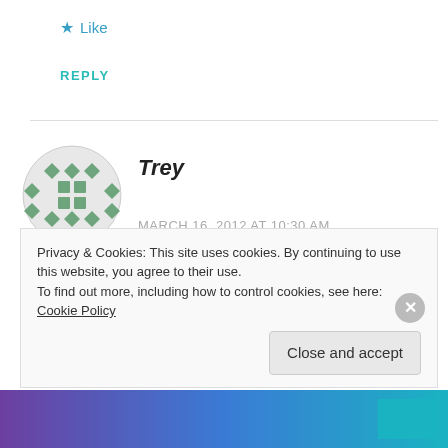★ Like
REPLY
Trey
MARCH 16, 2012 AT 10:30 AM
NukeSS 170g is my disc of choice recently. I still reach for my beat up Beast(ESP plastic) for smooth anhyzer shots.
Privacy & Cookies: This site uses cookies. By continuing to use this website, you agree to their use.
To find out more, including how to control cookies, see here: Cookie Policy
Close and accept